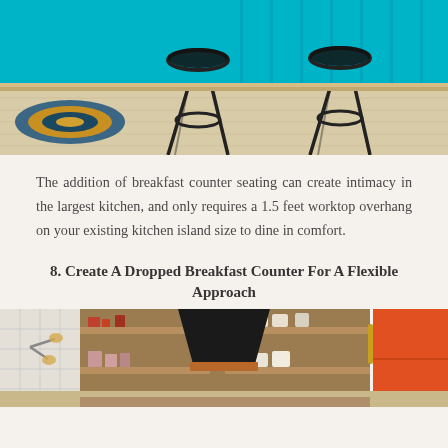[Figure (photo): Kitchen bar stools with metal frames on light wood floor against a turquoise/teal painted wall, with a colorful rug on the left]
The addition of breakfast counter seating can create intimacy in the largest kitchen, and only requires a 1.5 feet worktop overhang on your existing kitchen island size to dine in comfort.
8. Create A Dropped Breakfast Counter For A Flexible Approach
[Figure (photo): Kitchen interior with open shelving, black range hood with copper trim, orange refrigerator on right, white subway tiles on left, and various kitchen items on shelves]